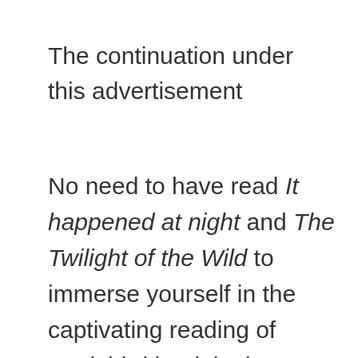The continuation under this advertisement
No need to have read It happened at night and The Twilight of the Wild to immerse yourself in the captivating reading of noah third book in the series 9 of Marc Levy, which features 9 genius hackers. “These 9 men and women who, in civilian life, have